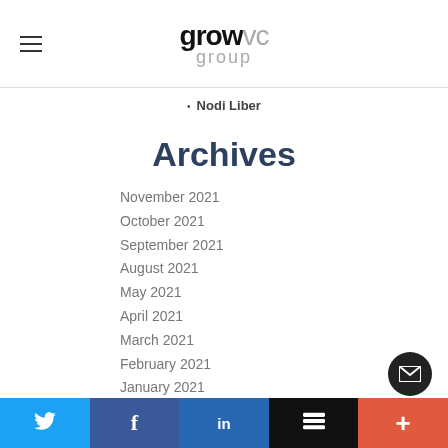growvc group
Nodi Liber
Archives
November 2021
October 2021
September 2021
August 2021
May 2021
April 2021
March 2021
February 2021
January 2021
December 2020